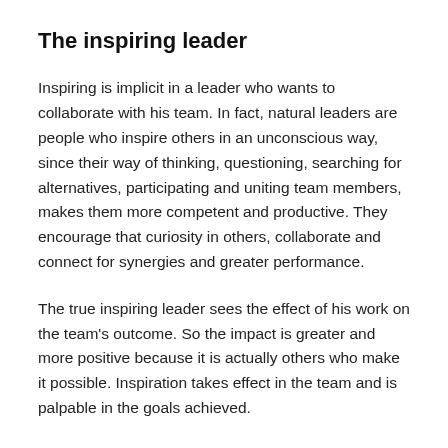The inspiring leader
Inspiring is implicit in a leader who wants to collaborate with his team. In fact, natural leaders are people who inspire others in an unconscious way, since their way of thinking, questioning, searching for alternatives, participating and uniting team members, makes them more competent and productive. They encourage that curiosity in others, collaborate and connect for synergies and greater performance.
The true inspiring leader sees the effect of his work on the team's outcome. So the impact is greater and more positive because it is actually others who make it possible. Inspiration takes effect in the team and is palpable in the goals achieved.
Inspiring is contrary to commanding. So it’s not so much